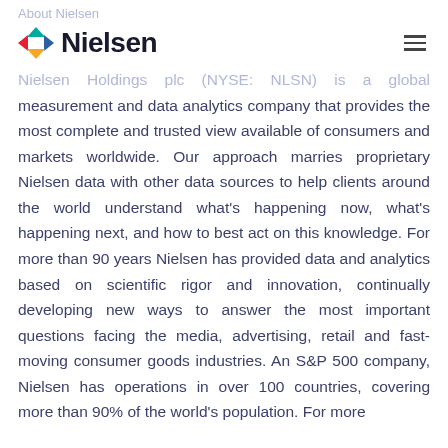About Nielsen
[Figure (logo): Nielsen logo with colorful arrow-like diamond shape and Nielsen text]
Nielsen Holdings plc (NYSE: NLSN) is a global measurement and data analytics company that provides the most complete and trusted view available of consumers and markets worldwide. Our approach marries proprietary Nielsen data with other data sources to help clients around the world understand what's happening now, what's happening next, and how to best act on this knowledge. For more than 90 years Nielsen has provided data and analytics based on scientific rigor and innovation, continually developing new ways to answer the most important questions facing the media, advertising, retail and fast-moving consumer goods industries. An S&P 500 company, Nielsen has operations in over 100 countries, covering more than 90% of the world's population. For more